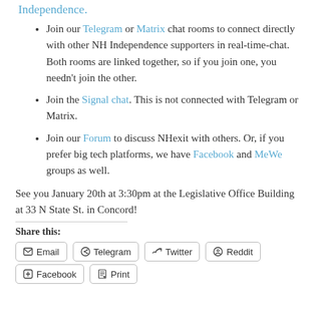Independence.
Join our Telegram or Matrix chat rooms to connect directly with other NH Independence supporters in real-time-chat. Both rooms are linked together, so if you join one, you needn't join the other.
Join the Signal chat. This is not connected with Telegram or Matrix.
Join our Forum to discuss NHexit with others. Or, if you prefer big tech platforms, we have Facebook and MeWe groups as well.
See you January 20th at 3:30pm at the Legislative Office Building at 33 N State St. in Concord!
Share this:
Email | Telegram | Twitter | Reddit | Facebook | Print